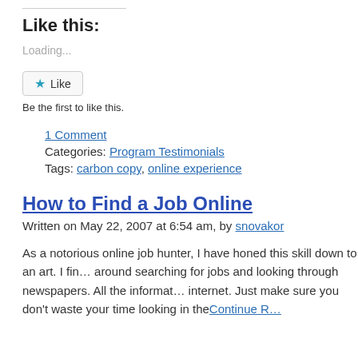Like this:
Loading...
[Figure (other): Like button widget with star icon and text 'Like']
Be the first to like this.
1 Comment
Categories: Program Testimonials
Tags: carbon copy, online experience
How to Find a Job Online
Written on May 22, 2007 at 6:54 am, by snovakor
As a notorious online job hunter, I have honed this skill down to an art. I fin… around searching for jobs and looking through newspapers. All the informat… internet. Just make sure you don't waste your time looking in the Continue R…